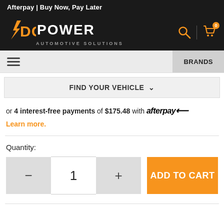Afterpay | Buy Now, Pay Later
[Figure (logo): DC Power Automotive Solutions logo – orange and white text on black background with lightning bolt]
≡  BRANDS
FIND YOUR VEHICLE ∨
or 4 interest-free payments of $175.48 with afterpay
Learn more.
Quantity:
- 1 +  ADD TO CART